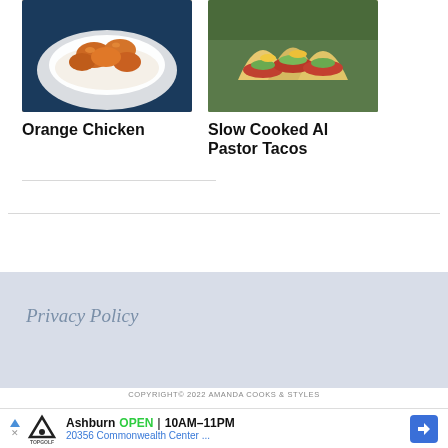[Figure (photo): Photo of Orange Chicken dish in a white bowl over rice with orange sauce]
Orange Chicken
[Figure (photo): Photo of Slow Cooked Al Pastor Tacos with colorful toppings]
Slow Cooked Al Pastor Tacos
Privacy Policy
COPYRIGHT© 2022 AMANDA COOKS & STYLES
[Figure (other): Advertisement banner: Topgolf Ashburn OPEN 10AM–11PM, 20356 Commonwealth Center ...]